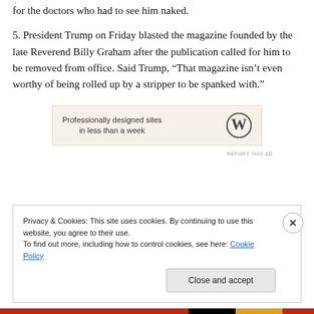for the doctors who had to see him naked.
5. President Trump on Friday blasted the magazine founded by the late Reverend Billy Graham after the publication called for him to be removed from office. Said Trump, “That magazine isn’t even worthy of being rolled up by a stripper to be spanked with.”
[Figure (other): WordPress advertisement banner: 'Professionally designed sites in less than a week' with WordPress logo]
Privacy & Cookies: This site uses cookies. By continuing to use this website, you agree to their use.
To find out more, including how to control cookies, see here: Cookie Policy
Close and accept